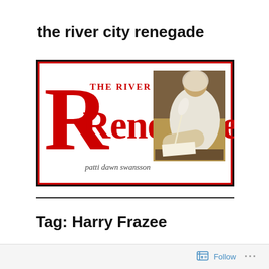the river city renegade
[Figure (logo): The River City Renegade blog banner with large red R, red serif text reading 'THE RIVER CITY Renegade', author name 'patti dawn swansson', and a classical painting of a woman writing with a quill pen on the right side. Red and black border around the banner.]
Tag: Harry Frazee